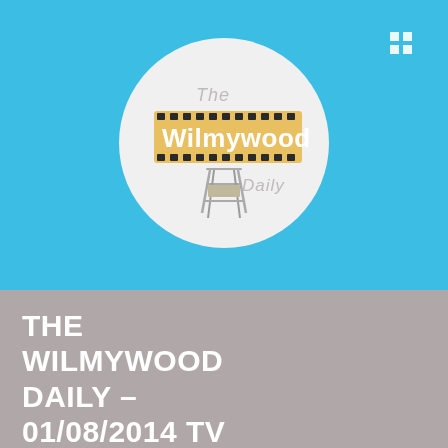[Figure (logo): The Wilmywood Daily logo inside a white circle, featuring a film strip banner with 'Wilmywood' text and a director's chair, with 'The' above and 'Daily' below the film strip.]
THE WILMYWOOD DAILY – 01/08/2014 TV Guide Cover, Bad Grandpa